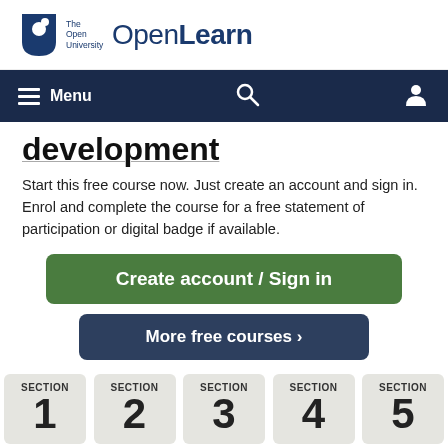[Figure (logo): The Open University OpenLearn logo with shield icon and text]
Menu (navigation bar with hamburger menu, search icon, and user icon)
development
Start this free course now. Just create an account and sign in. Enrol and complete the course for a free statement of participation or digital badge if available.
Create account / Sign in
More free courses >
SECTION 1
SECTION 2
SECTION 3
SECTION 4
SECTION 5